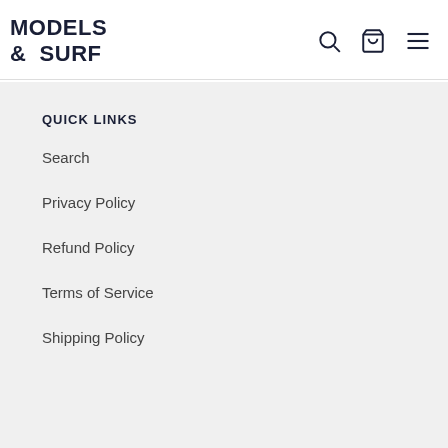MODELS & SURF
QUICK LINKS
Search
Privacy Policy
Refund Policy
Terms of Service
Shipping Policy